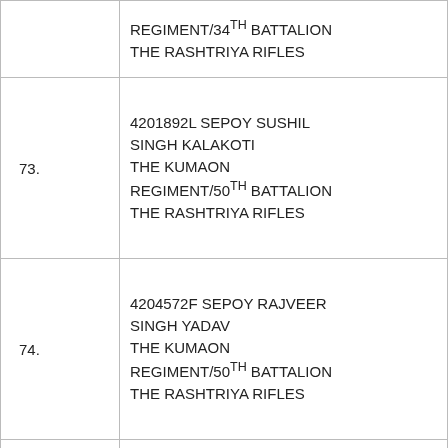| No. | Name / Unit |
| --- | --- |
|  | REGIMENT/34TH BATTALION THE RASHTRIYA RIFLES |
| 73. | 4201892L SEPOY SUSHIL SINGH KALAKOTI THE KUMAON REGIMENT/50TH BATTALION THE RASHTRIYA RIFLES |
| 74. | 4204572F SEPOY RAJVEER SINGH YADAV THE KUMAON REGIMENT/50TH BATTALION THE RASHTRIYA RIFLES |
| 75. | 4381857H SEPOY PANKAJ BORO THE ASSAM ... |